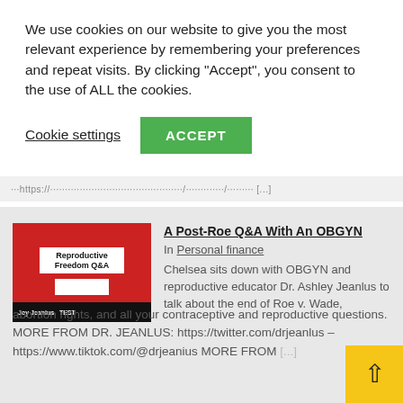We use cookies on our website to give you the most relevant experience by remembering your preferences and repeat visits. By clicking "Accept", you consent to the use of ALL the cookies.
Cookie settings  ACCEPT
...https://.../.../.../ [url truncated]
[Figure (screenshot): Thumbnail image showing a red background with text 'Reproductive Freedom Q&A' on a white label, with a document below and a dark bottom bar with text]
A Post-Roe Q&A With An OBGYN
In Personal finance
Chelsea sits down with OBGYN and reproductive educator Dr. Ashley Jeanlus to talk about the end of Roe v. Wade, abortion rights, and all your contraceptive and reproductive questions. MORE FROM DR. JEANLUS: https://twitter.com/drjeanlus – https://www.tiktok.com/@drjeanius MORE FROM [...]